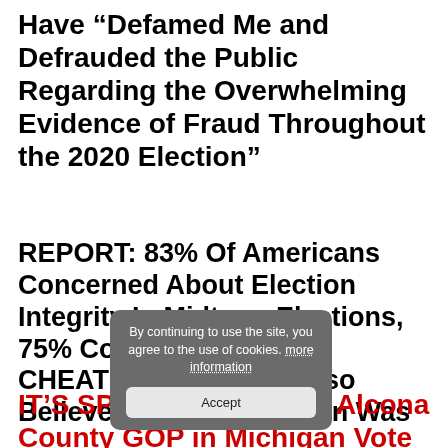Have “Defamed Me and Defrauded the Public Regarding the Overwhelming Evidence of Fraud Throughout the 2020 Election”
REPORT: 83% Of Americans Concerned About Election Integrity In Midterm Elections, 75% Concerned About CHEATING – Majority Also Believe The 2020 Election Was Rigged
[Figure (screenshot): Cookie consent popup dialog with gray background reading: 'By continuing to use the site, you agree to the use of cookies. more information' and an 'Accept' button]
IT'S SPREADING... and Alcona County GOP in Michigan Vote to